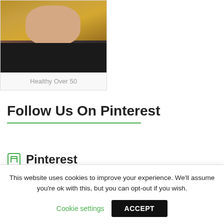[Figure (photo): Cropped photo of a blonde woman wearing a black top, upper body visible]
Healthy Over 50
Follow Us On Pinterest
Pinterest
Save
This website uses cookies to improve your experience. We'll assume you're ok with this, but you can opt-out if you wish.
Cookie settings
ACCEPT